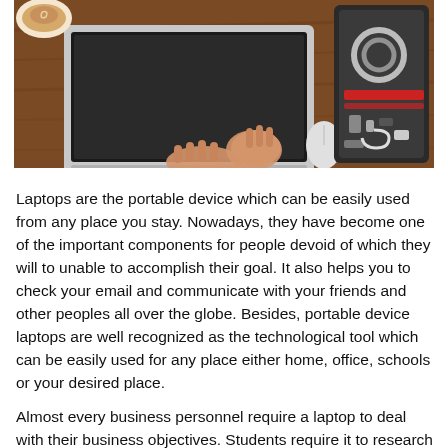[Figure (photo): Overhead/top-down view of a person working on a laptop on a wooden desk with a coffee cup, a mouse, and an open tech accessories case containing cables, adapters, and a red strap on the right side.]
Laptops are the portable device which can be easily used from any place you stay. Nowadays, they have become one of the important components for people devoid of which they will to unable to accomplish their goal. It also helps you to check your email and communicate with your friends and other peoples all over the globe. Besides, portable device laptops are well recognized as the technological tool which can be easily used for any place either home, office, schools or your desired place.
Almost every business personnel require a laptop to deal with their business objectives. Students require it to research as well as complete their assignments. So laptops have become an important...